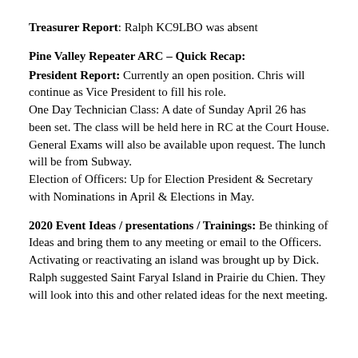Treasurer Report: Ralph KC9LBO was absent
Pine Valley Repeater ARC – Quick Recap:
President Report: Currently an open position. Chris will continue as Vice President to fill his role.
One Day Technician Class: A date of Sunday April 26 has been set. The class will be held here in RC at the Court House. General Exams will also be available upon request. The lunch will be from Subway.
Election of Officers: Up for Election President & Secretary with Nominations in April & Elections in May.
2020 Event Ideas / presentations / Trainings: Be thinking of Ideas and bring them to any meeting or email to the Officers. Activating or reactivating an island was brought up by Dick. Ralph suggested Saint Faryal Island in Prairie du Chien. They will look into this and other related ideas for the next meeting.